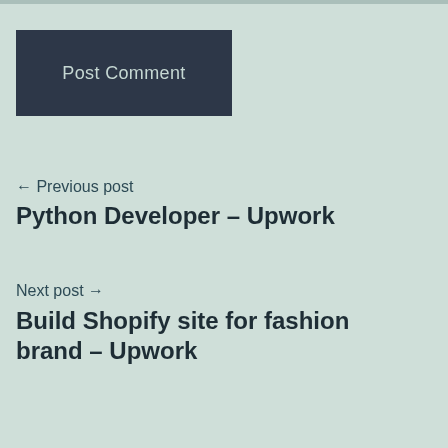Post Comment
← Previous post
Python Developer – Upwork
Next post →
Build Shopify site for fashion brand – Upwork